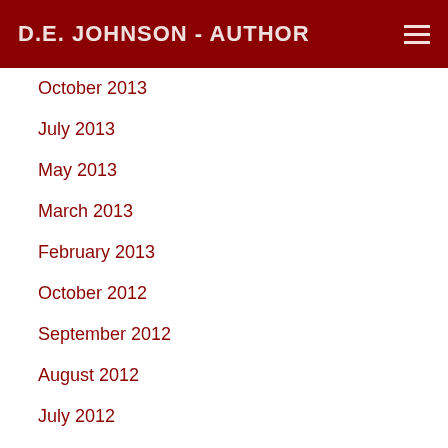D.E. JOHNSON - AUTHOR
October 2013
July 2013
May 2013
March 2013
February 2013
October 2012
September 2012
August 2012
July 2012
April 2012
January 2012
October 2011
August 2011
July 2011